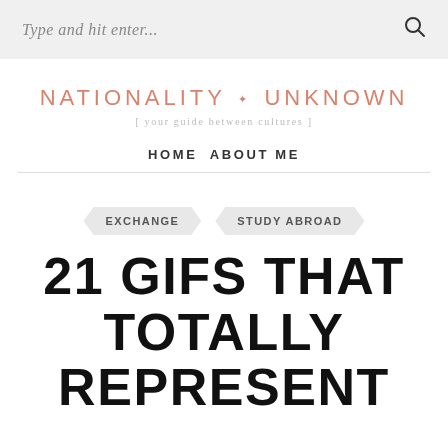Type and hit enter...
NATIONALITY ✦ UNKNOWN
[ your guide between cultures ]
HOME  ABOUT ME
EXCHANGE  STUDY ABROAD
21 GIFS THAT TOTALLY REPRESENT